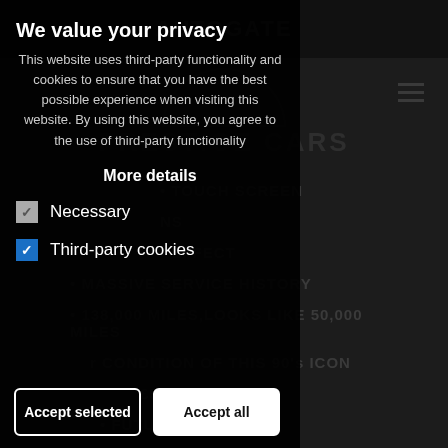We value your privacy
This website uses third-party functionality and cookies to ensure that you have the best possible experience when visiting this website. By using this website, you agree to the use of third-party functionality
More details
Necessary
Third-party cookies
Accept selected
Accept all